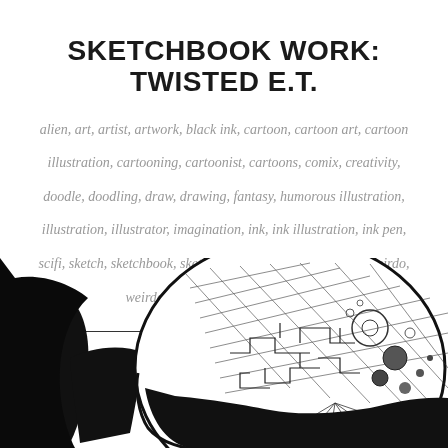SKETCHBOOK WORK: TWISTED E.T.
alien, art, artist, artwork, black ink, cartoon, cartoon art, cartoon illustration, cartooning, cartoonist, cartoons, comix, creativity, doodle, doodling, draw, drawing, fantasy, humorous illustration, illustration, illustrator, imagination, ink, ink illustration, ink pen, scifi, sketch, sketchbook, sketching, Uncategorized, weird, weirdo, weirdo art, weirdo culture, weirdos
[Figure (illustration): Black and white ink illustration showing a partial view of an alien creature head with cross-hatching, circuit-board patterns, and circular dot details on a large rounded head shape. The left side shows a solid black silhouette of the body.]